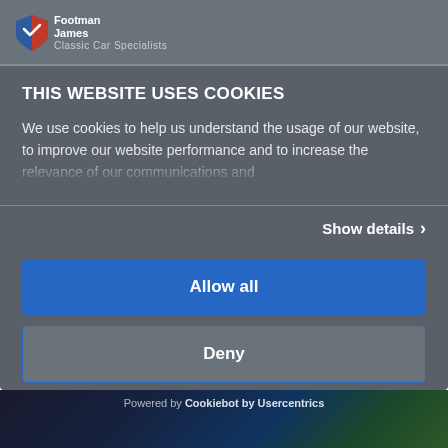[Figure (logo): Footman James logo — shield icon with red/blue design and company name]
THIS WEBSITE USES COOKIES
We use cookies to help us understand the usage of our website, to improve our website performance and to increase the relevance of our communications and
Show details >
Allow all
Deny
Powered by Cookiebot by Usercentrics